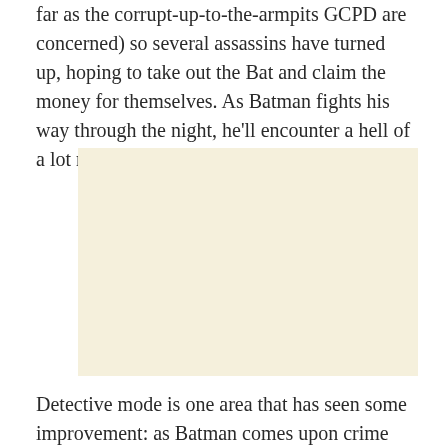far as the corrupt-up-to-the-armpits GCPD are concerned) so several assassins have turned up, hoping to take out the Bat and claim the money for themselves. As Batman fights his way through the night, he'll encounter a hell of a lot more issues as well.
[Figure (other): A plain cream/off-white rectangular placeholder image.]
Detective mode is one area that has seen some improvement: as Batman comes upon crime scenes both in